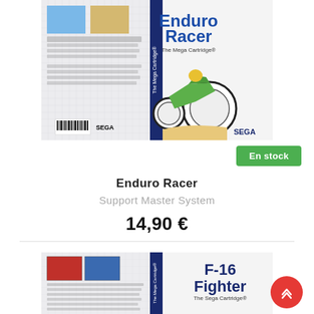[Figure (photo): Enduro Racer Sega Master System game box art showing a motorcycle racer on a grid background with SEGA branding]
En stock
Enduro Racer
Support Master System
14,90 €
[Figure (photo): F-16 Fighter The Sega Cartridge game box art showing jet fighter imagery on a grid background]